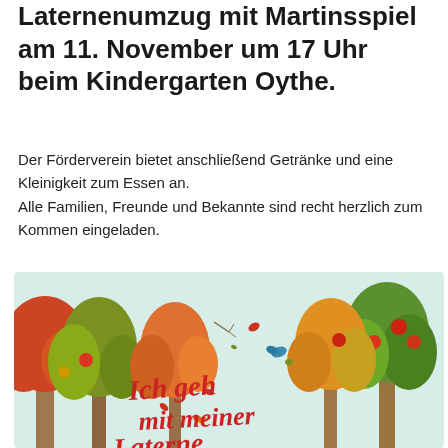Laternenumzug mit Martinsspiel am 11. November um 17 Uhr beim Kindergarten Oythe.
Der Förderverein bietet anschließend Getränke und eine Kleinigkeit zum Essen an.
Alle Familien, Freunde und Bekannte sind recht herzlich zum Kommen eingeladen.
[Figure (illustration): Autumn illustration with colorful trees in orange, red, green and yellow with apples, falling leaves, small insects, and a handwritten-style red text reading 'Ich geh mit meiner Laterne' on a light mint background.]